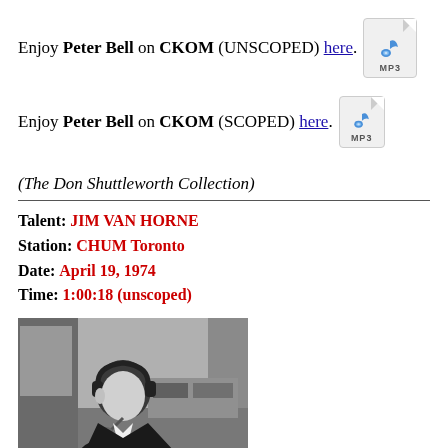Enjoy Peter Bell on CKOM (UNSCOPED) here.
Enjoy Peter Bell on CKOM (SCOPED) here.
(The Don Shuttleworth Collection)
Talent: JIM VAN HORNE
Station: CHUM Toronto
Date: April 19, 1974
Time: 1:00:18 (unscoped)
[Figure (photo): Black and white photograph of a radio DJ wearing headphones and speaking into a microphone in a broadcast studio]